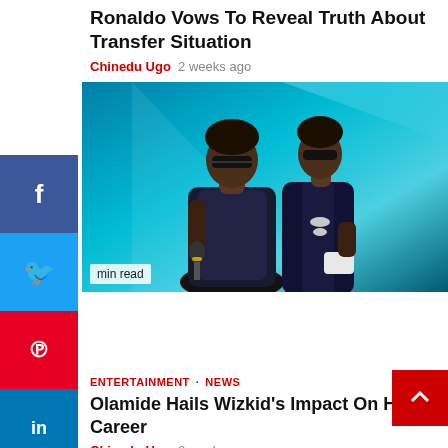Ronaldo Vows To Reveal Truth About Transfer Situation
Chinedu Ugo  2 weeks ago
[Figure (photo): Two male performers on stage in front of a blue background, performing at a concert. One holds a microphone, both wearing dark outfits. Text overlay reads 'min read'.]
ENTERTAINMENT · NEWS
Olamide Hails Wizkid's Impact On His Career
Chinedu Ugo  2 weeks ago